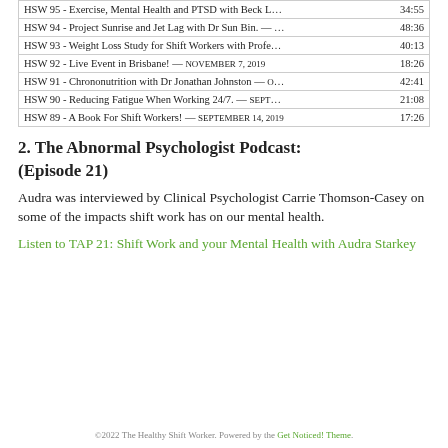| Episode | Duration |
| --- | --- |
| HSW 95 - Exercise, Mental Health and PTSD with Beck L… | 34:55 |
| HSW 94 - Project Sunrise and Jet Lag with Dr Sun Bin. — … | 48:36 |
| HSW 93 - Weight Loss Study for Shift Workers with Profe… | 40:13 |
| HSW 92 - Live Event in Brisbane! — NOVEMBER 7, 2019 | 18:26 |
| HSW 91 - Chrononutrition with Dr Jonathan Johnston — O… | 42:41 |
| HSW 90 - Reducing Fatigue When Working 24/7. — SEPT… | 21:08 |
| HSW 89 - A Book For Shift Workers! — SEPTEMBER 14, 2019 | 17:26 |
2. The Abnormal Psychologist Podcast: (Episode 21)
Audra was interviewed by Clinical Psychologist Carrie Thomson-Casey on some of the impacts shift work has on our mental health.
Listen to TAP 21: Shift Work and your Mental Health with Audra Starkey
©2022 The Healthy Shift Worker. Powered by the Get Noticed! Theme.